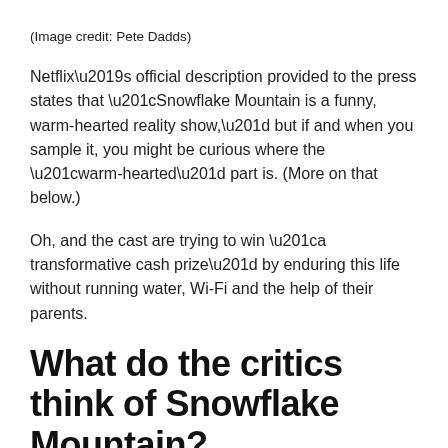(Image credit: Pete Dadds)
Netflix’s official description provided to the press states that “Snowflake Mountain is a funny, warm-hearted reality show,” but if and when you sample it, you might be curious where the “warm-hearted” part is. (More on that below.)
Oh, and the cast are trying to win “a transformative cash prize” by enduring this life without running water, Wi-Fi and the help of their parents.
What do the critics think of Snowflake Mountain?
How could I describe it… Snowflake Mountain? The